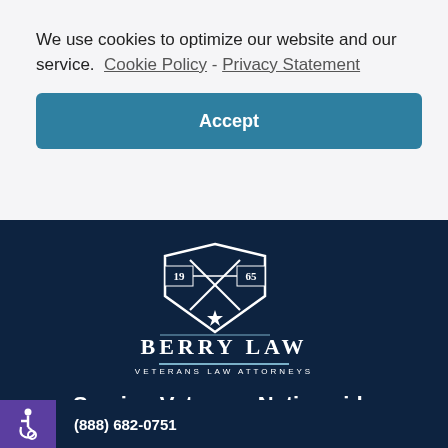We use cookies to optimize our website and our service.  Cookie Policy - Privacy Statement
Accept
[Figure (logo): Berry Law Veterans Law Attorneys shield logo with crossed swords and star, years 19 65]
Serving Veterans Nationwide
(888) 682-0751